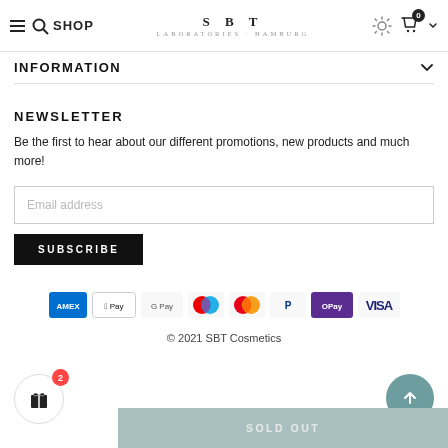SBT LABORATORIES HAMBURG
INFORMATION
NEWSLETTER
Be the first to hear about our different promotions, new products and much more!
[Figure (other): Payment method icons: Amex, Apple Pay, Google Pay, Maestro, Mastercard, PayPal, OPay, Visa]
© 2021 SBT Cosmetics